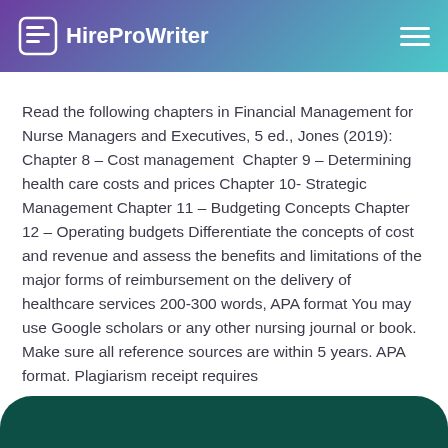HireProWriter
Read the following chapters in Financial Management for Nurse Managers and Executives, 5 ed., Jones (2019): Chapter 8 – Cost management  Chapter 9 – Determining health care costs and prices Chapter 10- Strategic Management Chapter 11 – Budgeting Concepts Chapter 12 – Operating budgets Differentiate the concepts of cost and revenue and assess the benefits and limitations of the major forms of reimbursement on the delivery of healthcare services 200-300 words, APA format You may use Google scholars or any other nursing journal or book. Make sure all reference sources are within 5 years. APA format. Plagiarism receipt requires